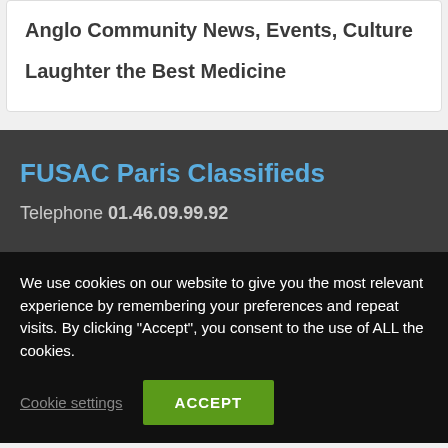Anglo Community News, Events, Culture
Laughter the Best Medicine
FUSAC Paris Classifieds
Telephone 01.46.09.99.92
We use cookies on our website to give you the most relevant experience by remembering your preferences and repeat visits. By clicking “Accept”, you consent to the use of ALL the cookies.
Cookie settings
ACCEPT